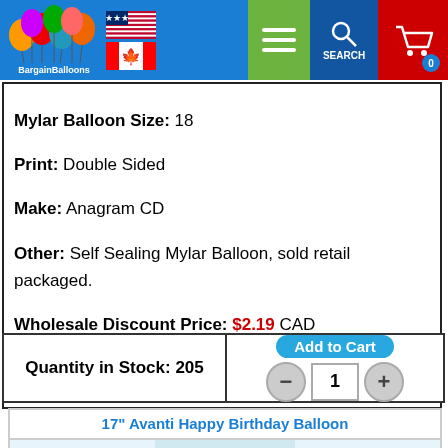BargainBalloons - website header with logo, US and Canada flags, menu, search, and cart navigation
Mylar Balloon Size: 18
Print: Double Sided
Make: Anagram CD
Other: Self Sealing Mylar Balloon, sold retail packaged.
Wholesale Discount Price: $2.19 CAD
Product Code: 36388-01
Quantity in Stock: 205
Add to Cart  1  - +
17" Avanti Happy Birthday Balloon
[Figure (photo): Photo of a rooster wearing sunglasses and a Hawaiian shirt at the beach]